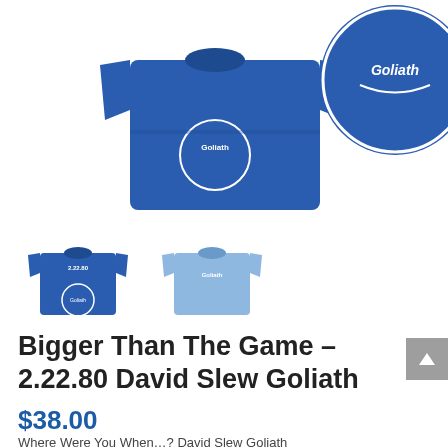[Figure (photo): Blue t-shirt product photo: main image showing folded royal blue t-shirt with white circular graphic and zoomed detail inset of the graphic in upper right corner]
[Figure (photo): Two small thumbnail images of the t-shirt: left thumbnail shows royal blue version with '2.22.80' text visible and circular back graphic, right thumbnail shows light blue version of the same shirt]
Bigger Than The Game – 2.22.80 David Slew Goliath
$38.00
Where Were You When…? David Slew Goliath